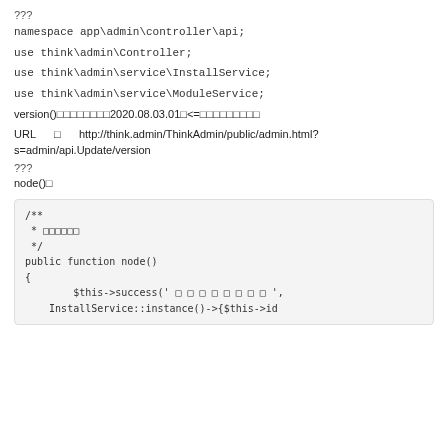???
namespace app\admin\controller\api;
use think\admin\Controller;
use think\admin\service\InstallService;
use think\admin\service\ModuleService;
version()???????????2020.08.03.01?<=??????????????
URL ? http://think.admin/ThinkAdmin/public/admin.html?s=admin/api.Update/version
???
node()?
/**
 * ??????
 */
public function node()
{
        $this->success(' ? ? ? ? ? ? ? ? ',
    InstallService::instance()->{$this->id